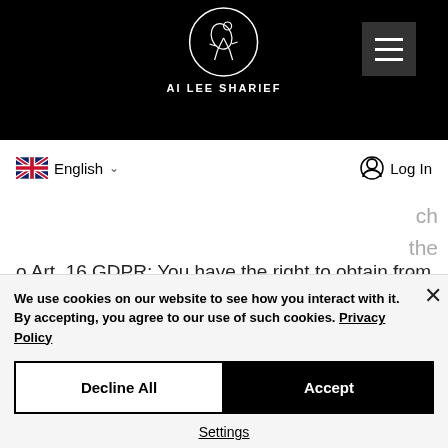[Figure (screenshot): Website header with logo (AI LEE SHARIEF), hamburger menu icon, and navigation bar with UK flag English language selector and Log In button on black background]
o Art. 16 GDPR: You have the right to obtain from the controller without undue delay the rectification of inaccurate personal data concerning you and/or the right to have incomplete personal
We use cookies on our website to see how you interact with it. By accepting, you agree to our use of such cookies. Privacy Policy
Decline All
Accept
Settings